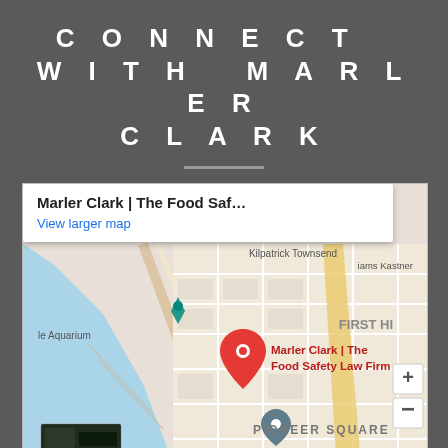CONNECT WITH MARLER CLARK
[Figure (map): Google Maps screenshot showing the location of Marler Clark | The Food Safety Law Firm in Seattle, WA near Pioneer Square. A red map pin marks the location. A popup shows 'Marler Clark | The Food Saf...' and a 'View larger map' link. The map also shows Menzer Law Firm PLLC, Pioneer Square, First Hill, Seattle Aquarium, and Kilpatrick Townsend labels. Bottom bar shows 'Map data ©2021 Google', 'Terms of Use', 'Report a map error', and 'Pioneer Square'.]